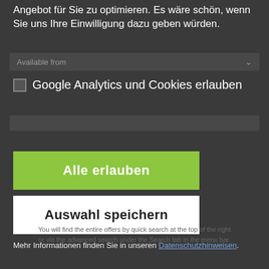Angebot für Sie zu optimieren. Es wäre schön, wenn Sie uns Ihre Einwilligung dazu geben würden.
Available from
Google Analytics und Cookies erlauben
Alle erlauben
Auswahl speichern
Mehr Informationen finden Sie in unseren Datenschutzhinweisen.
You will find the entire offers by quick search at the top of the right or via the advanced search under the Search tab in the menu bar.